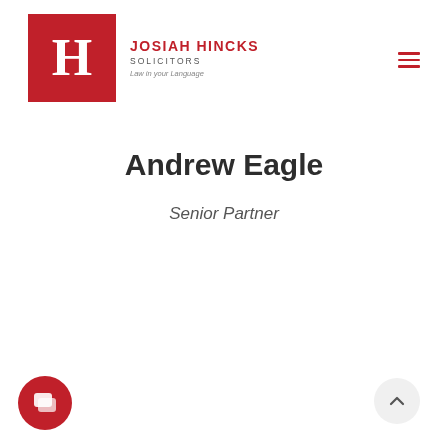[Figure (logo): Josiah Hincks Solicitors logo: red square with white H letter, followed by firm name 'JOSIAH HINCKS SOLICITORS' in red and tagline 'Law in your Language']
Andrew Eagle
Senior Partner